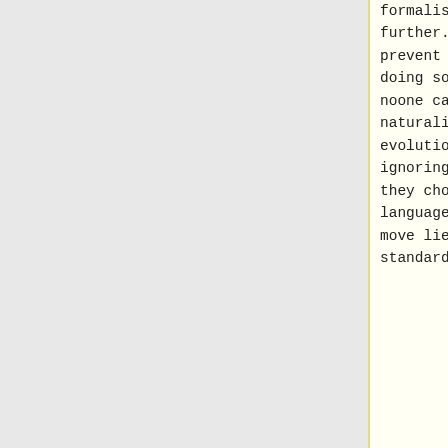formalise the language further. Noone can prevent them from doing so, just as noone can prevent naturalists (let alone evolutionists) from ignoring them in how they choose to use the language. But any such move lies outside the standard
formalise the language further. Noone can prevent them from doing so, just as noone can prevent naturalists (let alone evolutionists) from ignoring them in how they choose to use the language. But any such move lies outside the standard